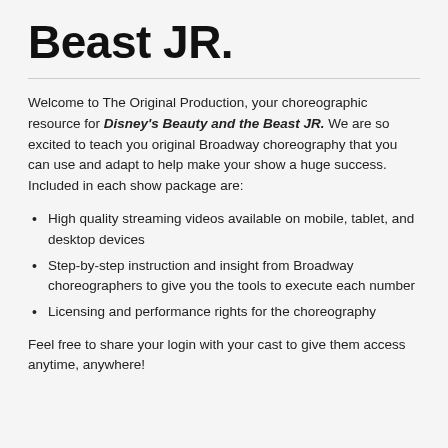Beast JR.
Welcome to The Original Production, your choreographic resource for Disney's Beauty and the Beast JR. We are so excited to teach you original Broadway choreography that you can use and adapt to help make your show a huge success. Included in each show package are:
High quality streaming videos available on mobile, tablet, and desktop devices
Step-by-step instruction and insight from Broadway choreographers to give you the tools to execute each number
Licensing and performance rights for the choreography
Feel free to share your login with your cast to give them access anytime, anywhere!